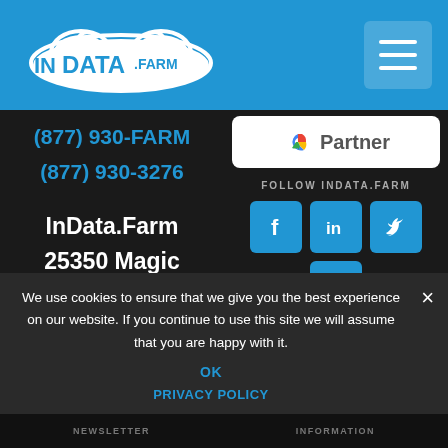[Figure (logo): InData.Farm logo — white cloud shape with 'INDATA.FARM' text in white on blue background]
[Figure (other): Hamburger menu button — three white horizontal lines on semi-transparent rounded square]
(877) 930-FARM
(877) 930-3276
[Figure (other): Google Partner badge — Google G logo with 'Partner' text on white rounded rectangle]
FOLLOW INDATA.FARM
[Figure (other): Social media icons: Facebook, LinkedIn, Twitter, YouTube — blue rounded square buttons]
InData.Farm
25350 Magic Mountain Pkwy
Suite 300
Valencia, CA
91355 USA
We use cookies to ensure that we give you the best experience on our website. If you continue to use this site we will assume that you are happy with it.
OK
PRIVACY POLICY
NEWSLETTER    INFORMATION